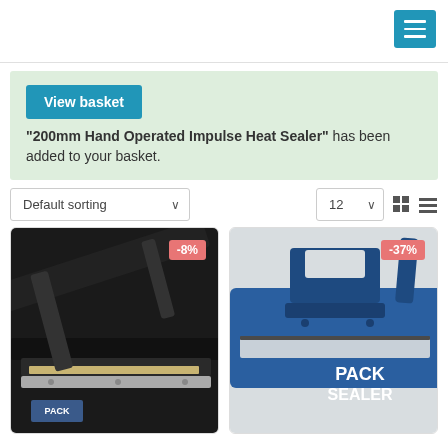Navigation bar with menu button
"200mm Hand Operated Impulse Heat Sealer" has been added to your basket.
Default sorting | 12 per page
[Figure (photo): Close-up photo of a black hand-operated impulse heat sealer (Pack Sealer brand), showing the sealing bar and handle. Discount badge: -8%]
[Figure (photo): Close-up photo of a blue Pack Sealer brand hand-operated impulse heat sealer. Discount badge: -37%]